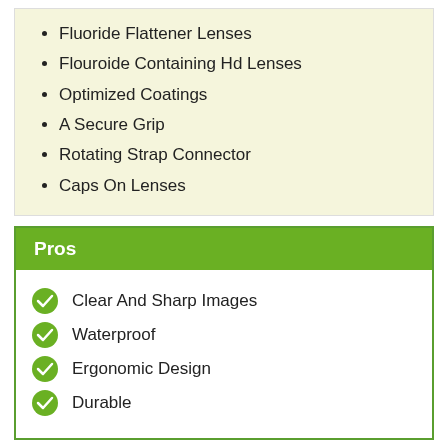Fluoride Flattener Lenses
Flouroide Containing Hd Lenses
Optimized Coatings
A Secure Grip
Rotating Strap Connector
Caps On Lenses
Pros
Clear And Sharp Images
Waterproof
Ergonomic Design
Durable
Cons